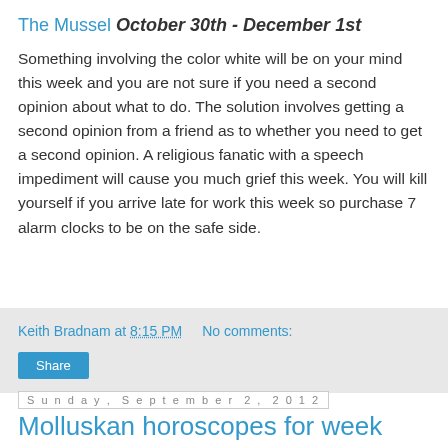The Mussel October 30th - December 1st
Something involving the color white will be on your mind this week and you are not sure if you need a second opinion about what to do. The solution involves getting a second opinion from a friend as to whether you need to get a second opinion. A religious fanatic with a speech impediment will cause you much grief this week. You will kill yourself if you arrive late for work this week so purchase 7 alarm clocks to be on the safe side.
Keith Bradnam at 8:15 PM   No comments:
Share
Sunday, September 2, 2012
Molluskan horoscopes for week beginning 3rd August 2012